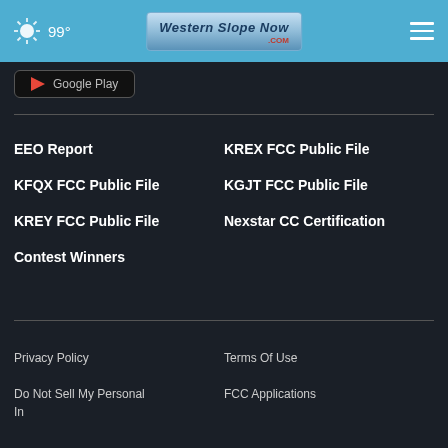99° Western Slope Now .com
[Figure (screenshot): Google Play store button partially visible at top]
EEO Report
KREX FCC Public File
KFQX FCC Public File
KGJT FCC Public File
KREY FCC Public File
Nexstar CC Certification
Contest Winners
Privacy Policy
Terms Of Use
Do Not Sell My Personal Information
FCC Applications